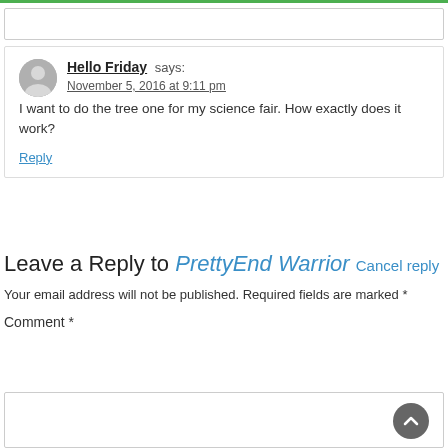Hello Friday says: November 5, 2016 at 9:11 pm
I want to do the tree one for my science fair. How exactly does it work?
Reply
Leave a Reply to PrettyEnd Warrior Cancel reply
Your email address will not be published. Required fields are marked *
Comment *